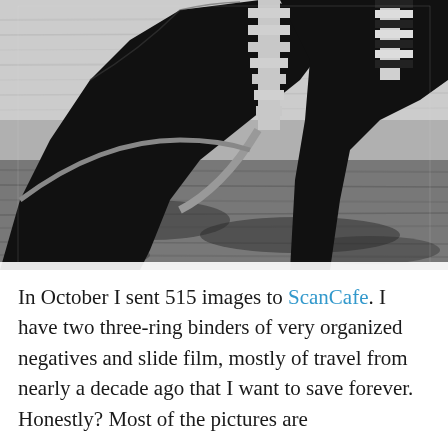[Figure (photo): Black and white photograph of Venetian gondola prows (ferro ornaments) on the water in Venice, Italy. Two dark gondola bows are visible with the characteristic metal ferro decorations, set against rippling water.]
In October I sent 515 images to ScanCafe. I have two three-ring binders of very organized negatives and slide film, mostly of travel from nearly a decade ago that I want to save forever. Honestly? Most of the pictures are